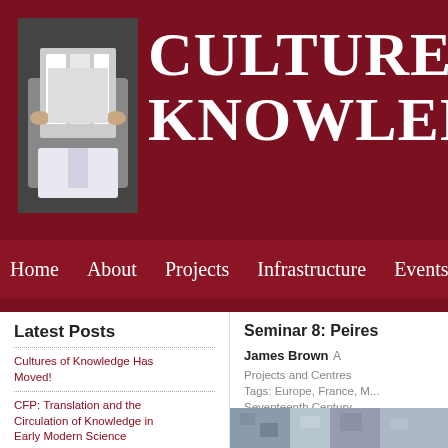[Figure (photo): Header photo of person holding up a document/newspaper in front of their face]
CULTURES OF KNOWLEDGE
Home  About  Projects  Infrastructure  Events
Latest Posts
Cultures of Knowledge Has Moved!
CFP: Translation and the Circulation of Knowledge in Early Modern Science
Journal Special Issue: New Directions in Early Modern Correspondence
Seminar 8: Peires...
James Brown  A... Projects and Centres Tags: Europe, France, M... Seventeenth Century
[Figure (photo): Pixelated/blurry image related to seminar content]